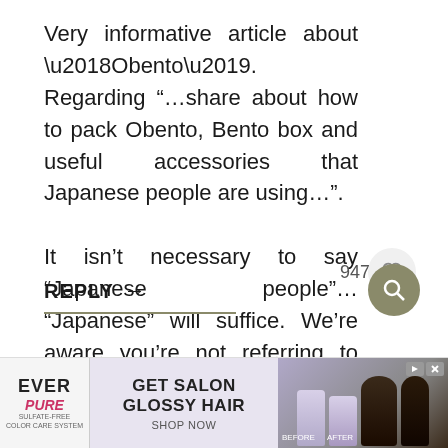Very informative article about ‘Obento’. Regarding “…share about how to pack Obento, Bento box and useful accessories that Japanese people are using…”. It isn’t necessary to say “Japanese people”… “Japanese” will suffice. We’re aware you’re not referring to “Japanese trees” or “Japanese cars”, etc. By context, “people” is assumed. JMHO.
947
REPLY →
[Figure (other): Advertisement banner for EverPure sulfate-free hair products: GET SALON GLOSSY HAIR SHOP NOW]